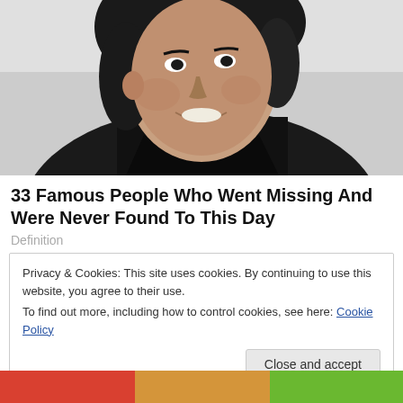[Figure (photo): Black and white close-up photo of a young man with dark hair, smiling, wearing a dark jacket.]
33 Famous People Who Went Missing And Were Never Found To This Day
Definition
Privacy & Cookies: This site uses cookies. By continuing to use this website, you agree to their use.
To find out more, including how to control cookies, see here: Cookie Policy
[Figure (photo): Partial view of colorful items at the bottom of the page.]